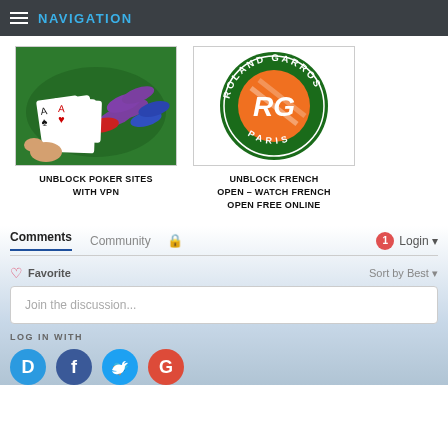NAVIGATION
[Figure (photo): Poker chips and playing cards (Ace of spades, Ace of hearts) on a green felt table]
UNBLOCK POKER SITES WITH VPN
[Figure (logo): Roland Garros Paris logo - circular green badge with orange circle and white RG letters]
UNBLOCK FRENCH OPEN – WATCH FRENCH OPEN FREE ONLINE
Comments   Community   🔒   1   Login
♡ Favorite   Sort by Best ▾
Join the discussion...
LOG IN WITH
[Figure (infographic): Social login buttons: Disqus (blue), Facebook (dark blue), Twitter (light blue), Google (red)]